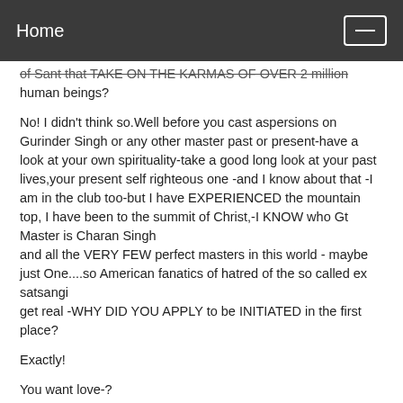Home
of Sant that TAKE ON THE KARMAS OF OVER 2 million human beings?
No! I didn't think so.Well before you cast aspersions on Gurinder Singh or any other master past or present-have a look at your own spirituality-take a good long look at your past lives,your present self righteous one -and I know about that -I am in the club too-but I have EXPERIENCED the mountain top, I have been to the summit of Christ,-I KNOW who Gt Master is Charan Singh and all the VERY FEW perfect masters in this world - maybe just One....so American fanatics of hatred of the so called ex satsangi get real -WHY DID YOU APPLY to be INITIATED in the first place?
Exactly!
You want love-?
You want bliss-?
You want spirituality?